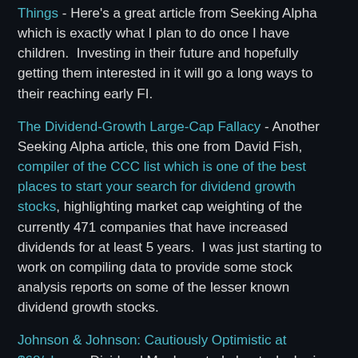Things - Here's a great article from Seeking Alpha which is exactly what I plan to do once I have children.  Investing in their future and hopefully getting them interested in it will go a long ways to their reaching early FI.
The Dividend-Growth Large-Cap Fallacy - Another Seeking Alpha article, this one from David Fish, compiler of the CCC list which is one of the best places to start your search for dividend growth stocks, highlighting market cap weighting of the currently 471 companies that have increased dividends for at least 5 years.  I was just starting to work on compiling data to provide some stock analysis reports on some of the lesser known dividend growth stocks.
Johnson & Johnson: Cautiously Optimistic at $68/share - Dividend Monk posted about why he is just slightly concerned with JNJ at its' recent share price.  A good pullback would be very tempting for me to jump in on.